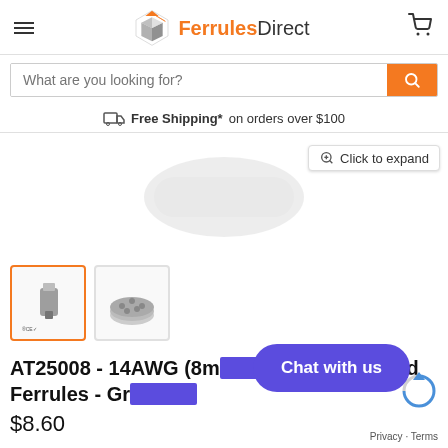[Figure (logo): FerrulesDirect logo with orange geometric icon and text]
[Figure (screenshot): Search bar with placeholder text and orange search button]
Free Shipping*on orders over $100
[Figure (photo): Product image area showing a gray wire ferrule, with Click to expand button]
[Figure (photo): Thumbnail 1: single ferrule product image selected]
[Figure (photo): Thumbnail 2: bulk ferrules in a pile]
AT25008 - 14AWG (8m... Pin) Insulated Ferrules - Gr...
$8.60